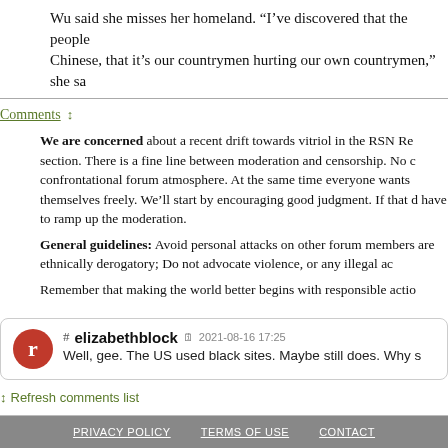Wu said she misses her homeland. “I’ve discovered that the people Chinese, that it’s our countrymen hurting our own countrymen,” she sa
Comments ↕
We are concerned about a recent drift towards vitriol in the RSN Re section. There is a fine line between moderation and censorship. No c confrontational forum atmosphere. At the same time everyone wants themselves freely. We’ll start by encouraging good judgment. If that d have to ramp up the moderation.
General guidelines: Avoid personal attacks on other forum members are ethnically derogatory; Do not advocate violence, or any illegal ac
Remember that making the world better begins with responsible actio
# elizabethblock 🗓 2021-08-16 17:25
Well, gee. The US used black sites. Maybe still does. Why s
↕ Refresh comments list
PRIVACY POLICY   TERMS OF USE   CONTACT
© 2022 Reader Sup